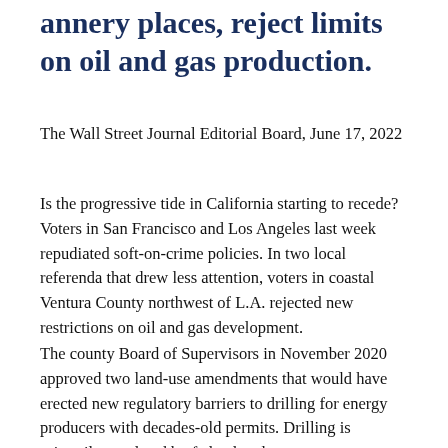...annery places, reject limits on oil and gas production.
The Wall Street Journal Editorial Board, June 17, 2022
Is the progressive tide in California starting to recede? Voters in San Francisco and Los Angeles last week repudiated soft-on-crime policies. In two local referenda that drew less attention, voters in coastal Ventura County northwest of L.A. rejected new restrictions on oil and gas development.
The county Board of Supervisors in November 2020 approved two land-use amendments that would have erected new regulatory barriers to drilling for energy producers with decades-old permits. Drilling is primarily regulated by federal and state